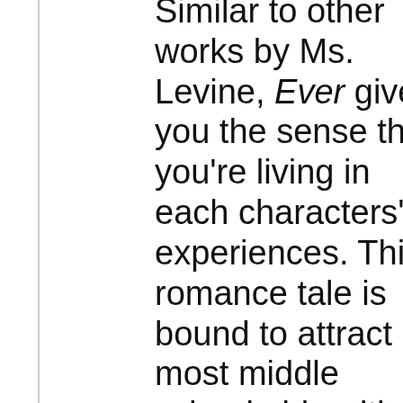Similar to other works by Ms. Levine, Ever gives you the sense that you're living in each characters' experiences. This romance tale is bound to attract most middle school girls with its stunning character development. Each character was developed very thoroughly, in both personality and physically, allowing